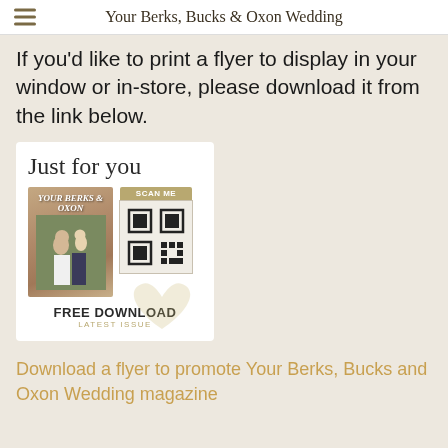Your Berks, Bucks & Oxon Wedding
If you'd like to print a flyer to display in your window or in-store, please download it from the link below.
[Figure (illustration): Promotional flyer card showing 'Just for you' in script font, a magazine cover with a wedding couple, a QR code with 'SCAN ME' label, 'FREE DOWNLOAD' text and 'LATEST ISSUE' subtext, with a heart watermark]
Download a flyer to promote Your Berks, Bucks and Oxon Wedding magazine